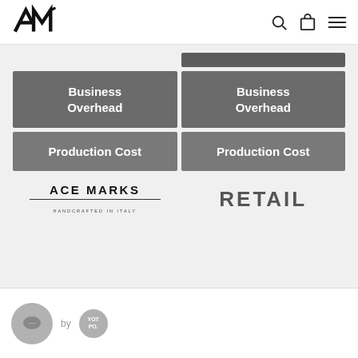[Figure (logo): AM logo (stylized angular letters) in top left nav bar]
[Figure (infographic): Two-column comparison grid showing Business Overhead and Production Cost rows for Ace Marks vs Retail, with a dark header bar above the Retail column]
[Figure (logo): Ace Marks - Handcrafted in Italy logo at bottom of left column]
RETAIL
[Figure (other): Chat widget with ellipsis icon, 'by' text, and Yotpo badge in bottom bar]